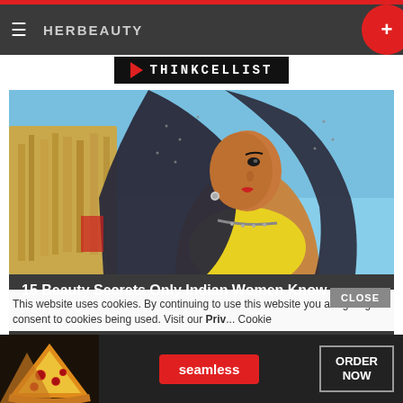HERBEAUTY
[Figure (photo): Indian woman wearing a dark embroidered dupatta/veil over her head, yellow top, silver necklace and earrings, outdoor background with sky]
15 Beauty Secrets Only Indian Women Know
HERBEAUTY
[Figure (photo): Bottom card partial image]
This website uses cookies. By continuing to use this website you are giving consent to cookies being used. Visit our Priv... Cookie
[Figure (screenshot): Seamless food delivery advertisement with pizza image, seamless logo pill, and ORDER NOW button]